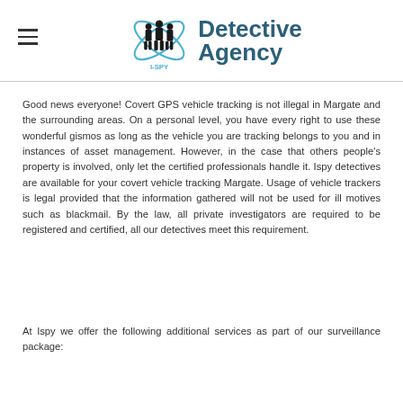I-SPY Detective Agency
Good news everyone! Covert GPS vehicle tracking is not illegal in Margate and the surrounding areas. On a personal level, you have every right to use these wonderful gismos as long as the vehicle you are tracking belongs to you and in instances of asset management. However, in the case that others people’s property is involved, only let the certified professionals handle it. Ispy detectives are available for your covert vehicle tracking Margate. Usage of vehicle trackers is legal provided that the information gathered will not be used for ill motives such as blackmail. By the law, all private investigators are required to be registered and certified, all our detectives meet this requirement.
At Ispy we offer the following additional services as part of our surveillance package: